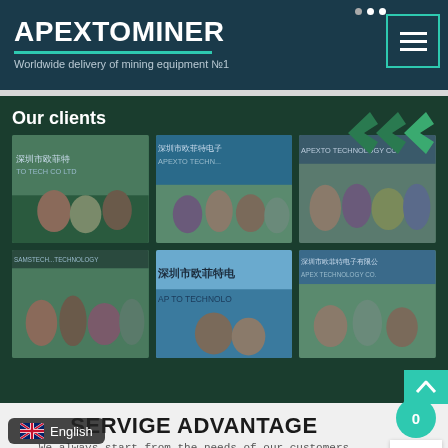APEXTOMINER
Worldwide delivery of mining equipment №1
Our clients
[Figure (photo): Grid of 6 client photos showing groups of people in front of company signs (深圳市欧菲特电子有限公司 / APEXTO TECHNOLOGY CO.)]
SERVIGE ADVANTAGE
We always start from the needs of our customers
[Figure (photo): Row of factory/facility photos at the bottom of the page]
English